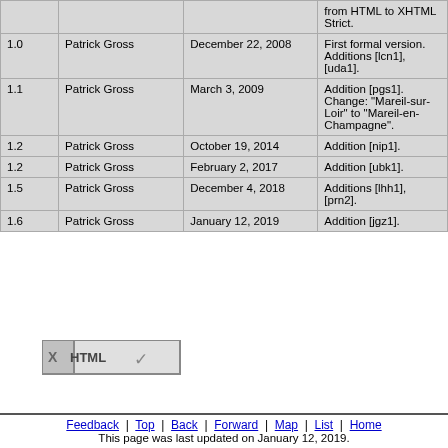| Version | Author | Date | Changes |
| --- | --- | --- | --- |
|  |  |  | from HTML to XHTML Strict. |
| 1.0 | Patrick Gross | December 22, 2008 | First formal version. Additions [lcn1], [uda1]. |
| 1.1 | Patrick Gross | March 3, 2009 | Addition [pgs1]. Change: "Mareil-sur-Loir" to "Mareil-en-Champagne". |
| 1.2 | Patrick Gross | October 19, 2014 | Addition [nip1]. |
| 1.2 | Patrick Gross | February 2, 2017 | Addition [ubk1]. |
| 1.5 | Patrick Gross | December 4, 2018 | Additions [lhh1], [prn2]. |
| 1.6 | Patrick Gross | January 12, 2019 | Addition [jgz1]. |
[Figure (logo): XHTML validation badge]
Feedback | Top | Back | Forward | Map | List | Home
This page was last updated on January 12, 2019.